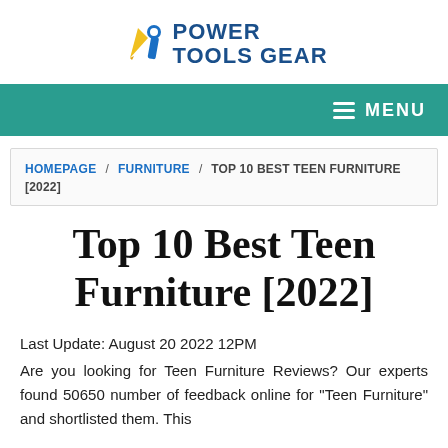[Figure (logo): Power Tools Gear logo with wrench/pencil icon and blue text reading POWER TOOLS GEAR]
MENU navigation bar with hamburger icon on teal/green background
HOMEPAGE / FURNITURE / TOP 10 BEST TEEN FURNITURE [2022]
Top 10 Best Teen Furniture [2022]
Last Update: August 20 2022 12PM
Are you looking for Teen Furniture Reviews? Our experts found 50650 number of feedback online for "Teen Furniture" and shortlisted them. This